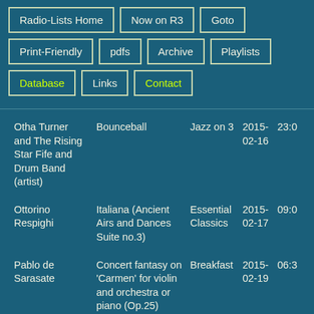Radio-Lists Home
Now on R3
Goto
Print-Friendly
pdfs
Archive
Playlists
Database
Links
Contact
| Artist | Title | Show | Date | Time |
| --- | --- | --- | --- | --- |
| Otha Turner and The Rising Star Fife and Drum Band (artist) | Bounceball | Jazz on 3 | 2015-02-16 | 23:0 |
| Ottorino Respighi | Italiana (Ancient Airs and Dances Suite no.3) | Essential Classics | 2015-02-17 | 09:0 |
| Pablo de Sarasate | Concert fantasy on 'Carmen' for violin and orchestra or piano (Op.25) | Breakfast | 2015-02-19 | 06:3 |